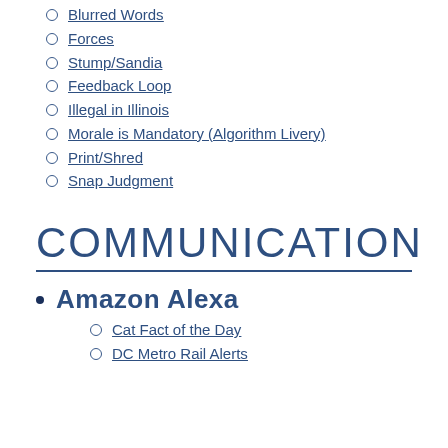Blurred Words
Forces
Stump/Sandia
Feedback Loop
Illegal in Illinois
Morale is Mandatory (Algorithm Livery)
Print/Shred
Snap Judgment
COMMUNICATION
Amazon Alexa
Cat Fact of the Day
DC Metro Rail Alerts